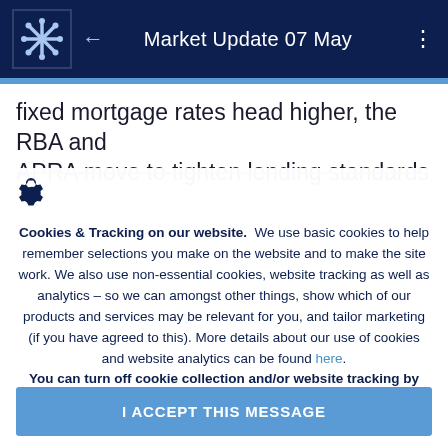Market Update 07 May
fixed mortgage rates head higher, the RBA and APRA move to tighten lending standards
[Figure (other): Gear/settings icon]
Cookies & Tracking on our website. We use basic cookies to help remember selections you make on the website and to make the site work. We also use non-essential cookies, website tracking as well as analytics - so we can amongst other things, show which of our products and services may be relevant for you, and tailor marketing (if you have agreed to this). More details about our use of cookies and website analytics can be found here. You can turn off cookie collection and/or website tracking by updating your cookies & tracking preferences in your browser settings.
I ACCEPT THIS MESSAGE